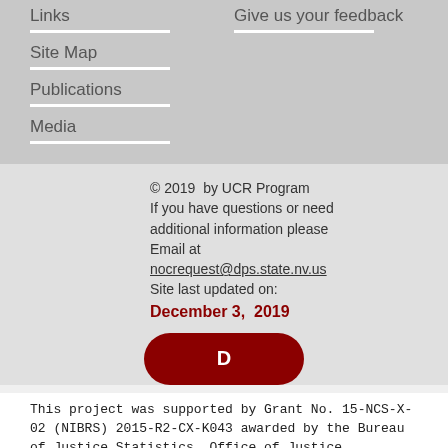Links
Site Map
Publications
Media
Give us your feedback
© 2019  by UCR Program
If you have questions or need additional information please Email at nocrequest@dps.state.nv.us
Site last updated on:
December 3, 2019
[Figure (other): Dark red rounded button with letter D]
This project was supported by Grant No. 15-NCS-X-02 (NIBRS) 2015-R2-CX-K043 awarded by the Bureau of Justice Statistics, Office of Justice Programs, U.S. Department of Justice. Points of view in this document are those of the author and do not necessarily represent the official position or policies of the US Department of Justice.